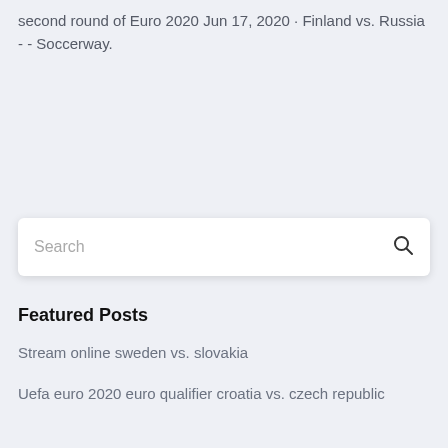second round of Euro 2020 Jun 17, 2020 · Finland vs. Russia - - Soccerway.
[Figure (other): Search input box with placeholder text 'Search' and a search icon on the right]
Featured Posts
Stream online sweden vs. slovakia
Uefa euro 2020 euro qualifier croatia vs. czech republic